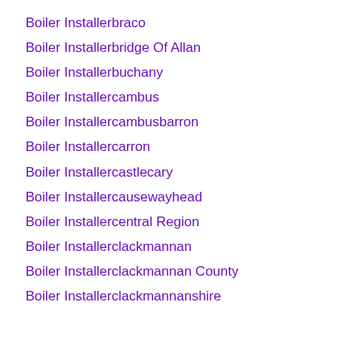Boiler Installerbraco
Boiler Installerbridge Of Allan
Boiler Installerbuchany
Boiler Installercambus
Boiler Installercambusbarron
Boiler Installercarron
Boiler Installercastlecary
Boiler Installercausewayhead
Boiler Installercentral Region
Boiler Installerclackmannan
Boiler Installerclackmannan County
Boiler Installerclackmannanshire